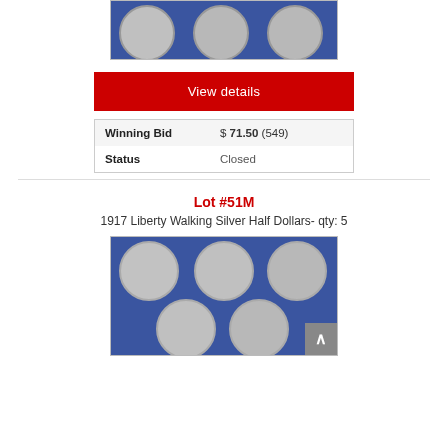[Figure (photo): Photo of three silver coins (Barber quarters/halves) arranged on a blue background, partially visible at top of page]
View details
| Winning Bid | $ 71.50 (549) |
| Status | Closed |
Lot #51M
1917 Liberty Walking Silver Half Dollars- qty: 5
[Figure (photo): Photo of five 1917 Liberty Walking Silver Half Dollars arranged on a blue background — three in top row, two in bottom row]